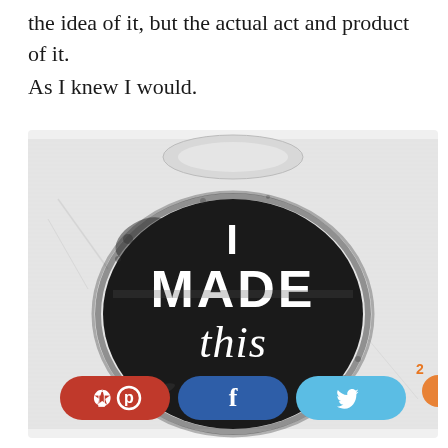the idea of it, but the actual act and product of it.
As I knew I would.
[Figure (photo): A white t-shirt with a black circular stamp print reading 'I MADE this' in bold letters]
[Figure (infographic): Social sharing buttons: Pinterest (red), Facebook (dark blue), Twitter (light blue)]